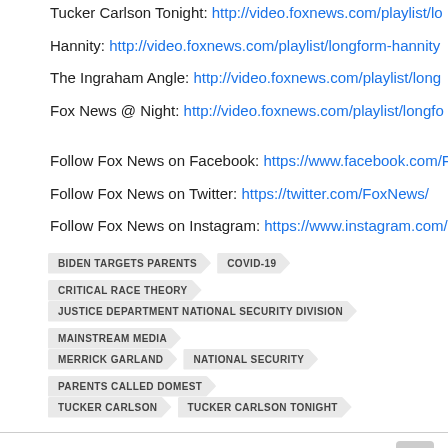Tucker Carlson Tonight: http://video.foxnews.com/playlist/lo...
Hannity: http://video.foxnews.com/playlist/longform-hannity...
The Ingraham Angle: http://video.foxnews.com/playlist/long...
Fox News @ Night: http://video.foxnews.com/playlist/longfo...
Follow Fox News on Facebook: https://www.facebook.com/F...
Follow Fox News on Twitter: https://twitter.com/FoxNews/
Follow Fox News on Instagram: https://www.instagram.com/...
BIDEN TARGETS PARENTS
COVID-19
CRITICAL RACE THEORY
JUSTICE DEPARTMENT NATIONAL SECURITY DIVISION
MAINSTREAM MEDIA
MERRICK GARLAND
NATIONAL SECURITY
PARENTS CALLED DOMEST...
TUCKER CARLSON
TUCKER CARLSON TONIGHT
© 2020 CHANGE IN SETTINGS